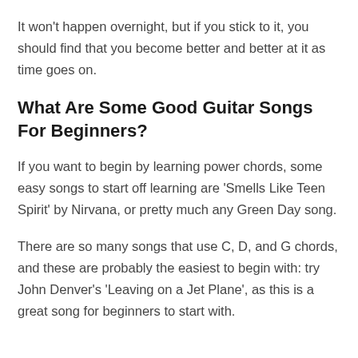It won't happen overnight, but if you stick to it, you should find that you become better and better at it as time goes on.
What Are Some Good Guitar Songs For Beginners?
If you want to begin by learning power chords, some easy songs to start off learning are ‘Smells Like Teen Spirit’ by Nirvana, or pretty much any Green Day song.
There are so many songs that use C, D, and G chords, and these are probably the easiest to begin with: try John Denver’s ‘Leaving on a Jet Plane’, as this is a great song for beginners to start with.